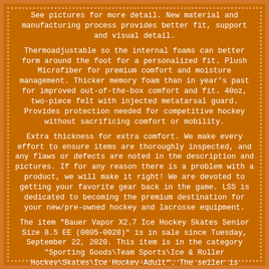See pictures for more detail. New material and manufacturing process provides better fit, support and visual detail.
Thermoadjustable so the internal foams can better form around the foot for a personalized fit. Plush Microfiber for premium comfort and moisture management. Thicker memory foam than in year's past for improved out-of-the-box comfort and fit. 40oz, two-piece felt with injected metatarsal guard. Provides protection needed for competitive hockey without sacrificing comfort or mobility.
Extra thickness for extra comfort. We make every effort to ensure items are thoroughly inspected, and any flaws or defects are noted in the description and pictures. If for any reason there is a problem with a product, we will make it right! We are devoted to getting your favorite gear back in the game. LSS is dedicated to becoming the premium destination for your new/pre-owned hockey and lacrosse equipment.
The item "Bauer Vapor X2.7 Ice Hockey Skates Senior Size 8.5 EE (0805-0028)" is in sale since Tuesday, September 22, 2020. This item is in the category "Sporting Goods\Team Sports\Ice & Roller Hockey\Skates\Ice Hockey-Adult". The seller is "last_shot_sports" and is located in Belleville, Illinois. This item can be shipped to United States, Canada, United Kingdom, Denmark, Romania, Slovakia, Bulgaria, Czech republic, Finland, Hungary, Latvia, Lithuania, Malta, Estonia, Australia, Greece,